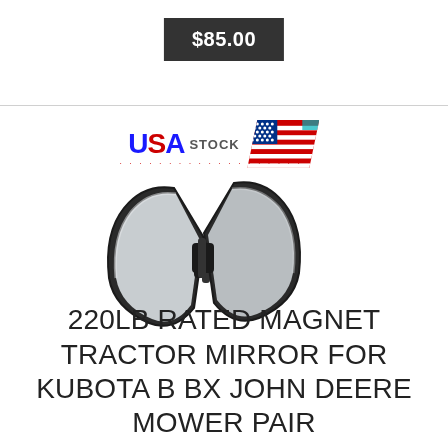$85.00
[Figure (photo): Product listing showing a pair of black magnetic tractor mirrors with silver reflective surfaces, with a USA STOCK badge above the product image]
220LB RATED MAGNET TRACTOR MIRROR FOR KUBOTA B BX JOHN DEERE MOWER PAIR